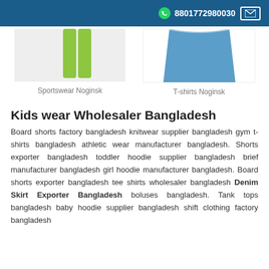8801772980030
[Figure (photo): Green sportswear/leggings product photo on light gray background]
[Figure (photo): Blue t-shirt fabric/product photo on white background]
Sportswear Noginsk
T-shirts Noginsk
Kids wear Wholesaler Bangladesh
Board shorts factory bangladesh knitwear supplier bangladesh gym t-shirts bangladesh athletic wear manufacturer bangladesh. Shorts exporter bangladesh toddler hoodie supplier bangladesh brief manufacturer bangladesh girl hoodie manufacturer bangladesh. Board shorts exporter bangladesh tee shirts wholesaler bangladesh Denim Skirt Exporter Bangladesh boluses bangladesh. Tank tops bangladesh baby hoodie supplier bangladesh shift clothing factory bangladesh